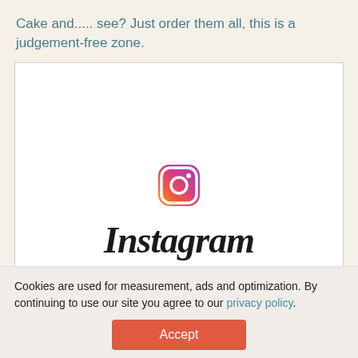Cake and..... see? Just order them all, this is a judgement-free zone.
[Figure (logo): Instagram embed placeholder showing the Instagram camera icon logo and the Instagram wordmark in script font on a white background.]
Cookies are used for measurement, ads and optimization. By continuing to use our site you agree to our privacy policy.